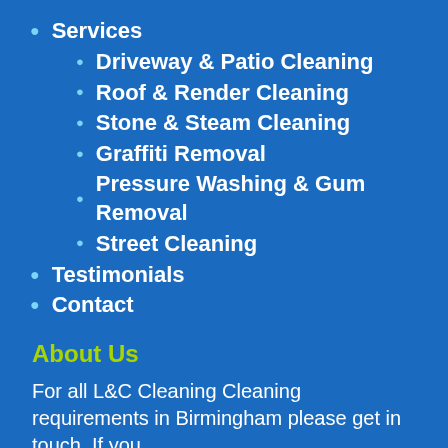Services
Driveway & Patio Cleaning
Roof & Render Cleaning
Stone & Steam Cleaning
Graffiti Removal
Pressure Washing & Gum Removal
Street Cleaning
Testimonials
Contact
About Us
For all L&C Cleaning Cleaning requirements in Birmingham please get in touch. If you